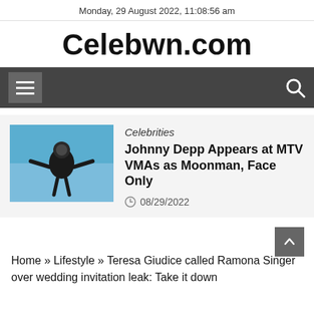Monday, 29 August 2022, 11:08:56 am
Celebwn.com
[Figure (screenshot): Navigation bar with hamburger menu icon on left and search icon on right, dark gray background]
[Figure (photo): Thumbnail image of a performer on stage in a bodysuit with arms outstretched, blue stage lighting]
Celebrities
Johnny Depp Appears at MTV VMAs as Moonman, Face Only
08/29/2022
Home » Lifestyle » Teresa Giudice called Ramona Singer over wedding invitation leak: Take it down